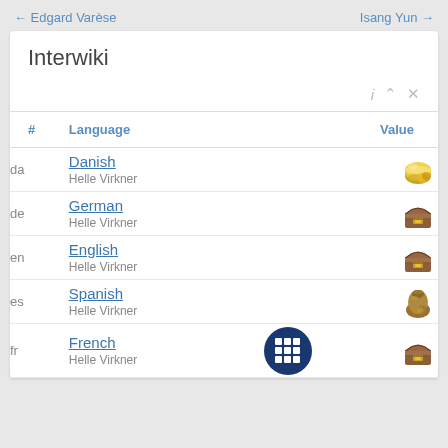← Edgard Varèse    Isang Yun →
Interwiki
| # | Language | Value |
| --- | --- | --- |
| da | Danish
Helle Virkner | 🪙 |
| de | German
Helle Virkner | 📦 |
| en | English
Helle Virkner | 📦 |
| es | Spanish
Helle Virkner | 💰 |
| fr | French
Helle Virkner | 📦 |